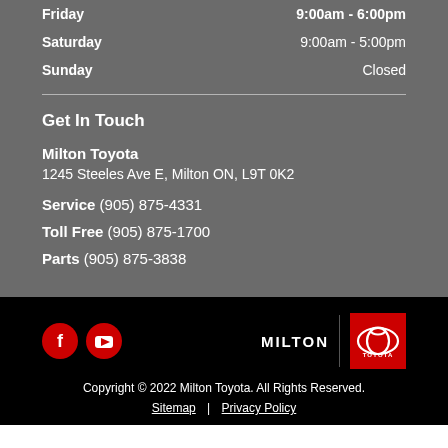Friday  9:00am - 6:00pm
Saturday  9:00am - 5:00pm
Sunday  Closed
Get In Touch
Milton Toyota
1245 Steeles Ave E, Milton ON, L9T 0K2
Service  (905) 875-4331
Toll Free  (905) 875-1700
Parts  (905) 875-3838
[Figure (logo): Milton Toyota logo with social media icons (Facebook, YouTube) and MILTON TOYOTA branding]
Copyright © 2022 Milton Toyota. All Rights Reserved. Sitemap | Privacy Policy